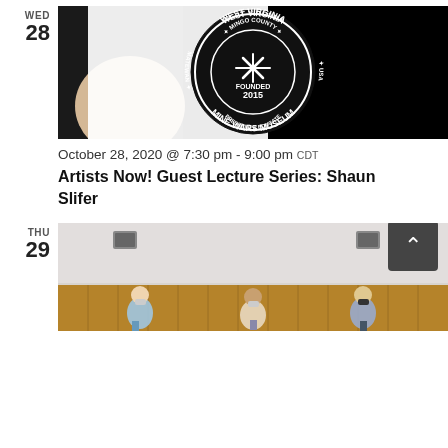WED
28
[Figure (photo): A hand holding a round black sticker/logo for the West Virginia Mine Wars Museum. Text on logo reads: West Virginia Mine Wars Museum, Matewan, Mingo County, USA, Founded 2015, Preserve & Educate]
October 28, 2020 @ 7:30 pm - 9:00 pm CDT
Artists Now! Guest Lecture Series: Shaun Slifer
THU
29
[Figure (photo): Interior of a large room with wood-paneled walls. Three people wearing masks stand at the bottom of the frame. Two wall-mounted speakers are visible near the top.]